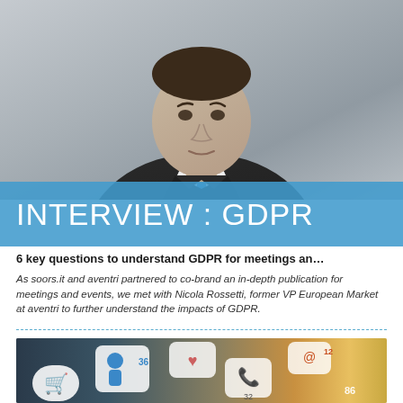[Figure (photo): Black and white professional portrait photo of a man in a suit with a blue tie, looking at the camera against a light grey background]
INTERVIEW : GDPR
6 key questions to understand GDPR for meetings an…
As soors.it and aventri partnered to co-brand an in-depth publication for meetings and events, we met with Nicola Rossetti, former VP European Market at aventri to further understand the impacts of GDPR.
[Figure (photo): Color photo showing digital icons and social media interface elements floating over a blurred background of people using technology, with shopping cart, person, heart, phone, and notification icons visible with numbers 36, 32, 12, 86]